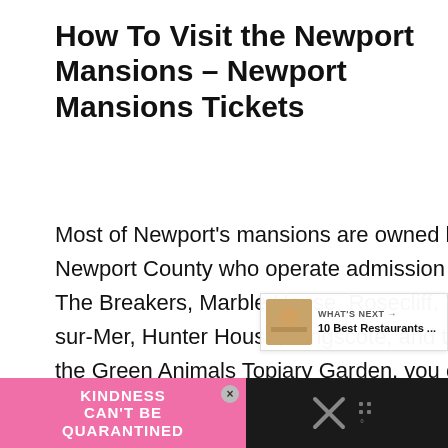How To Visit the Newport Mansions – Newport Mansions Tickets
Most of Newport's mansions are owned by The Preservation Society of Newport County who operate admission to these palatial estates. To visit The Breakers, Marble House, Rosecliff, The Elms, Chepstow, Chateau-sur-Mer, Hunter House, Kingscote, and the Isaac Bell House, as well as the Green Animals Topiary Garden, you can purchase tickets online at the Newport Mansions website.
[Figure (screenshot): Advertisement bar at bottom: pink section with 'KINDNESS CAN'T BE QUARANTINED' text and dark section with X icon]